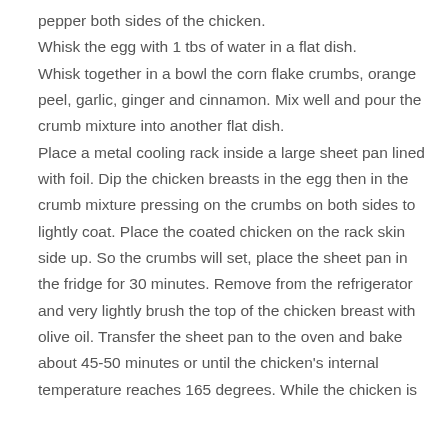pepper both sides of the chicken.
Whisk the egg with 1 tbs of water in a flat dish.
Whisk together in a bowl the corn flake crumbs, orange peel, garlic, ginger and cinnamon. Mix well and pour the crumb mixture into another flat dish.
Place a metal cooling rack inside a large sheet pan lined with foil. Dip the chicken breasts in the egg then in the crumb mixture pressing on the crumbs on both sides to lightly coat. Place the coated chicken on the rack skin side up. So the crumbs will set, place the sheet pan in the fridge for 30 minutes. Remove from the refrigerator and very lightly brush the top of the chicken breast with olive oil. Transfer the sheet pan to the oven and bake about 45-50 minutes or until the chicken’s internal temperature reaches 165 degrees. While the chicken is